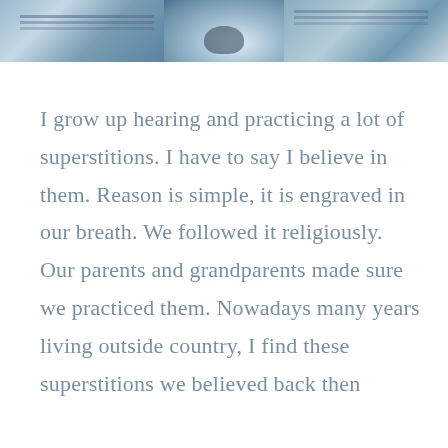[Figure (photo): Partial photo strip at top of page showing blurred outdoor/water scene with blue-gray tones, likely a decorative header image]
I grow up hearing and practicing a lot of superstitions. I have to say I believe in them. Reason is simple, it is engraved in our breath. We followed it religiously. Our parents and grandparents made sure we practiced them. Nowadays many years living outside country, I find these superstitions we believed back then